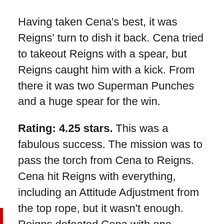Having taken Cena's best, it was Reigns' turn to dish it back. Cena tried to takeout Reigns with a spear, but Reigns caught him with a kick. From there it was two Superman Punches and a huge spear for the win.
Rating: 4.25 stars. This was a fabulous success. The mission was to pass the torch from Cena to Reigns. Cena hit Reigns with everything, including an Attitude Adjustment from the top rope, but it wasn't enough. Reigns defeated Cena with one decisive spear. It's been the Reigns Era for at least a year now, but this is still a milestone moment.
Bobby Lashley beats Goldberg by ref stoppage
This went differently than I thought it would. Lashley